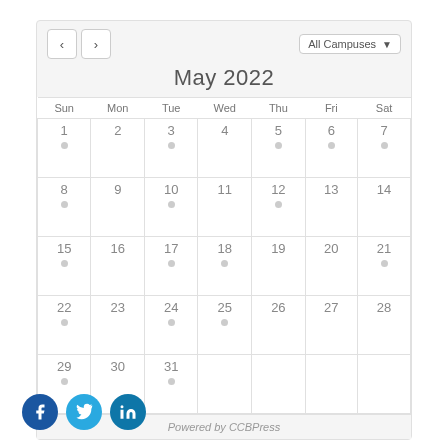May 2022
| Sun | Mon | Tue | Wed | Thu | Fri | Sat |
| --- | --- | --- | --- | --- | --- | --- |
| 1 | 2 | 3 | 4 | 5 | 6 | 7 |
| 8 | 9 | 10 | 11 | 12 | 13 | 14 |
| 15 | 16 | 17 | 18 | 19 | 20 | 21 |
| 22 | 23 | 24 | 25 | 26 | 27 | 28 |
| 29 | 30 | 31 |  |  |  |  |
Powered by CCBPress
[Figure (other): Social media icons: Facebook, Twitter, LinkedIn]